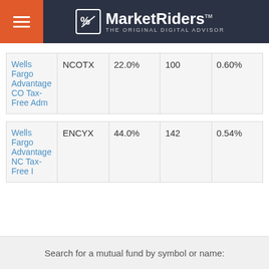MarketRiders THE ORIGINAL DIGITAL ADVISOR
| Fund Name | Ticker | Allocation | Shares | Expense Ratio |
| --- | --- | --- | --- | --- |
| Wells Fargo Advantage CO Tax-Free Adm | NCOTX | 22.0% | 100 | 0.60% |
| Wells Fargo Advantage NC Tax-Free I | ENCYX | 44.0% | 142 | 0.54% |
Search for a mutual fund by symbol or name: